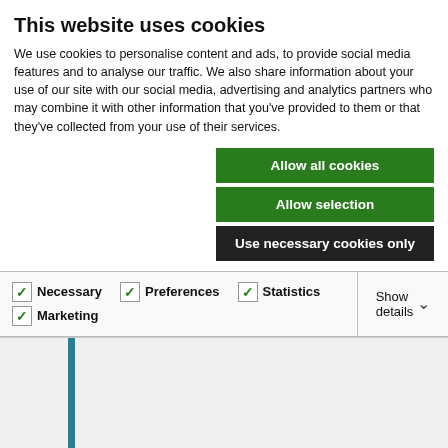This website uses cookies
We use cookies to personalise content and ads, to provide social media features and to analyse our traffic. We also share information about your use of our site with our social media, advertising and analytics partners who may combine it with other information that you've provided to them or that they've collected from your use of their services.
Allow all cookies
Allow selection
Use necessary cookies only
Necessary  Preferences  Statistics  Marketing  Show details
Part 47 for assistance in relation to the form which points of dispute should take… points of dispute should be short and to the